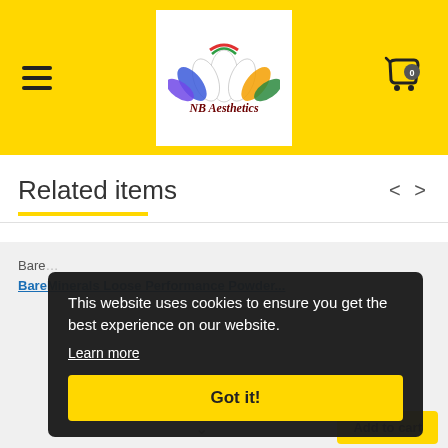[Figure (logo): NB Aesthetics logo with colorful lotus flower and stylized text 'NB Aesthetics' on white background, set in yellow header bar with hamburger menu on left and shopping cart icon on right]
Related items
BareMinerals Loose Performance Powder (partial, visible behind overlay)
This website uses cookies to ensure you get the best experience on our website.
Learn more
Got it!